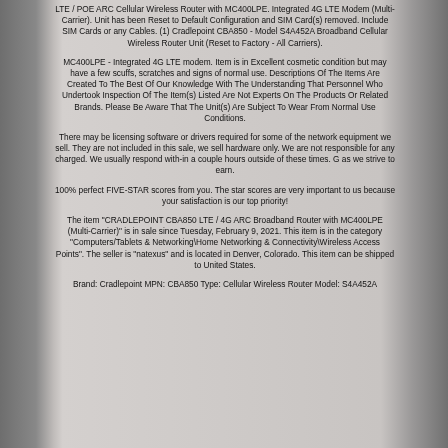LTE / POE ARC Cellular Wireless Router with MC400LPE. Integrated 4G LTE Modem (Multi-Carrier). Unit has been Reset to Default Configuration and SIM Card(s) removed. Include SIM Cards or any Cables. (1) Cradlepoint CBA850 - Model S4A452A Broadband Cellular Wireless Router Unit (Reset to Factory - All Carriers).
MC400LPE - Integrated 4G LTE modem. Item is in Excellent cosmetic condition but may have a few scuffs, scratches and signs of normal use. Descriptions Of The Items Are Created To The Best Of Our Knowledge With The Understanding That Personnel Who Undertook Inspection Of The Item(s) Listed Are Not Experts On The Products Or Related Brands. Please Be Aware That The Unit(s) Are Subject To Wear From Normal Use Conditions.
There may be licensing software or drivers required for some of the network equipment we sell. They are not included in this sale, we sell hardware only. We are not responsible for any charged. We usually respond with-in a couple hours outside of these times. G as we strive to earn.
100% perfect FIVE-STAR scores from you. The star scores are very important to us because your satisfaction is our top priority!
The item "CRADLEPOINT CBA850 LTE / 4G ARC Broadband Router with MC400LPE (Multi-Carrier)" is in sale since Tuesday, February 9, 2021. This item is in the category "Computers/Tablets & Networking\Home Networking & Connectivity\Wireless Access Points". The seller is "natexus" and is located in Denver, Colorado. This item can be shipped to United States.
Brand: Cradlepoint MPN: CBA850 Type: Cellular Wireless Router Model: S4A452A